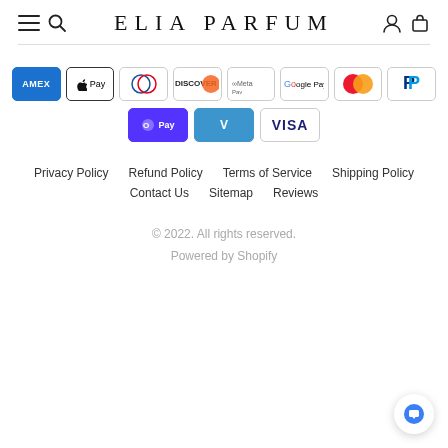ELIA PARFUM
[Figure (logo): Payment method icons: American Express, Apple Pay, Diners Club, Discover, Meta Pay, Google Pay, Mastercard, PayPal, Shop Pay, Venmo, Visa]
Privacy Policy
Refund Policy
Terms of Service
Shipping Policy
Contact Us
Sitemap
Reviews
© 2022. All rights reserved.
Powered by Shopify